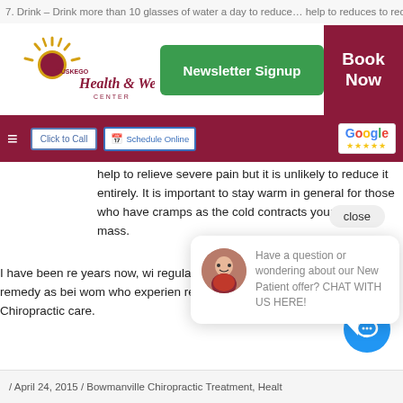7. Drink – Drink more than 10 glasses of water a day to reduce… help to reduce… place
[Figure (logo): Muskego Health & Wellness Center logo with sun icon]
[Figure (screenshot): Newsletter Signup green button]
[Figure (screenshot): Book Now dark red button]
[Figure (screenshot): Navigation bar with hamburger menu, Click to Call, Schedule Online, Google 5-star rating badge]
help to relieve severe pain but it is unlikely to reduce it entirely. It is important to stay warm in general for those who have cramps as the cold contracts your muscle mass.
I have been re… several years now, wi… sing remedy as bei… wom who experien… cle regular Chiropractic care.
[Figure (screenshot): Chat popup with avatar: Have a question or wondering about our New Patient offer? CHAT WITH US HERE!]
[Figure (screenshot): Blue chat circle button with speech bubble icon]
/ April 24, 2015 / Bowmanville Chiropractic Treatment, Healt